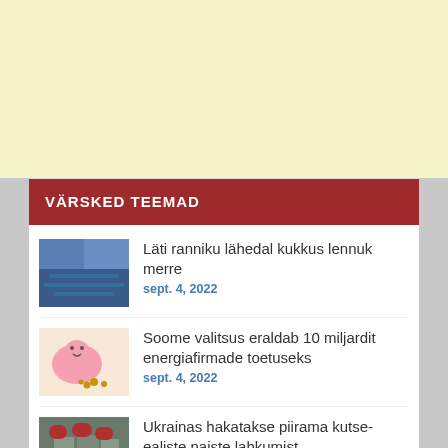[Figure (other): Light yellow advertisement banner at the top of the page]
VÄRSKED TEEMAD
[Figure (photo): Thumbnail image of water/sea with blue tones for article about plane crash near Latvia coast]
Läti ranniku lähedal kukkus lennuk merre
sept. 4, 2022
[Figure (photo): Thumbnail image of a pink piggy bank with coins for article about Finnish government energy support]
Soome valitsus eraldab 10 miljardit energiafirmade toetuseks
sept. 4, 2022
[Figure (photo): Thumbnail image of female soldiers in military uniforms and berets for article about Ukraine conscription-age women]
Ukrainas hakatakse piirama kutse-ealiste naiste lahkumist
sept. 4, 2022
[Figure (photo): Partially visible red/dark thumbnail at the bottom of the page]